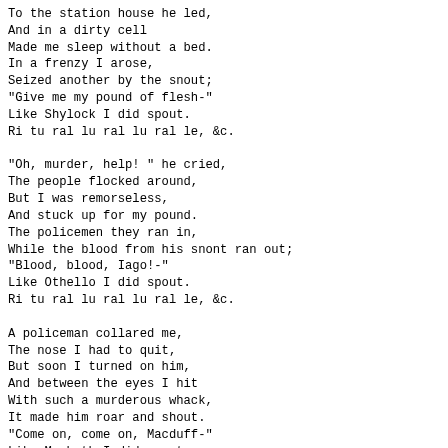To the station house he led,
And in a dirty cell
Made me sleep without a bed.
In a frenzy I arose,
Seized another by the snout;
"Give me my pound of flesh-"
Like Shylock I did spout.
Ri tu ral lu ral lu ral le, &c.

"Oh, murder, help! " he cried,
The people flocked around,
But I was remorseless,
And stuck up for my pound.
The policemen they ran in,
While the blood from his snont ran out;
"Blood, blood, Iago!-"
Like Othello I did spout.
Ri tu ral lu ral lu ral le, &c.

A policeman collared me,
The nose I had to quit,
But soon I turned on him,
And between the eyes I hit
With such a murderous whack,
It made him roar and shout.
"Come on, come on, Macduff-"
Like Macbeth I did spout.
Ri tu ral lu ral lu ral le, &c.

"Oh, murder, help! "he cried,